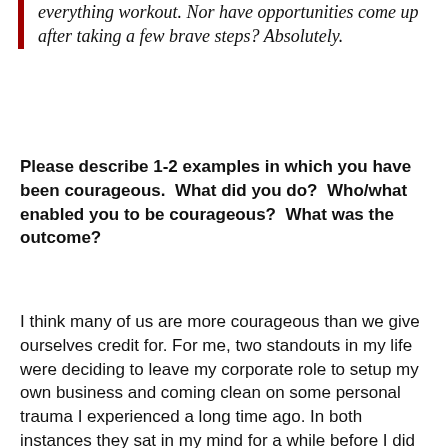everything workout. Nor have opportunities come up after taking a few brave steps? Absolutely.
Please describe 1-2 examples in which you have been courageous. What did you do? Who/what enabled you to be courageous? What was the outcome?
I think many of us are more courageous than we give ourselves credit for. For me, two standouts in my life were deciding to leave my corporate role to setup my own business and coming clean on some personal trauma I experienced a long time ago. In both instances they sat in my mind for a while before I did anything. I was aware that they were there, I just didn't know what they meant, or what the right action was to take. I spent time reflecting on why I was feeling the way that I